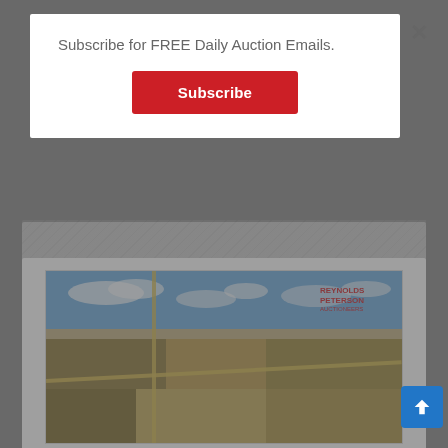Subscribe for FREE Daily Auction Emails.
Subscribe
[Figure (photo): Aerial photograph of farmland in Sherman & Afton Township, Brookings Co., SD, showing flat agricultural fields with a road intersection, blue sky with clouds, and a Reynolds Peterson auction company logo watermark in upper right]
Tuesday, July 19, 2022 @ 10:00 am
889.04+/- Acre Sherman & Afton Twp., Brookings Co., SD